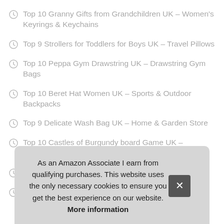Top 10 Granny Gifts from Grandchildren UK – Women's Keyrings & Keychains
Top 9 Strollers for Toddlers for Boys UK – Travel Pillows
Top 10 Peppa Gym Drawstring UK – Drawstring Gym Bags
Top 10 Beret Hat Women UK – Sports & Outdoor Backpacks
Top 9 Delicate Wash Bag UK – Home & Garden Store
Top 10 Castles of Burgundy board Game UK – Reusable Shopping Bags
Top 10 Locking Carabiner Clip Climbing UK – Snaps
T…
As an Amazon Associate I earn from qualifying purchases. This website uses the only necessary cookies to ensure you get the best experience on our website. More information